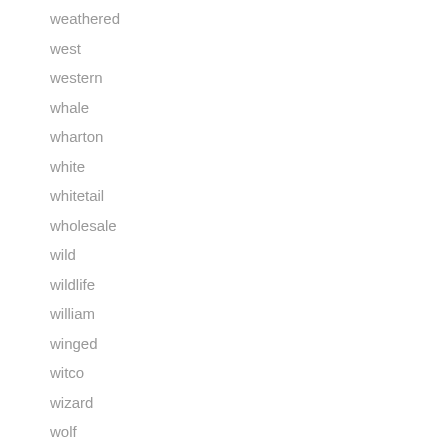weathered
west
western
whale
wharton
white
whitetail
wholesale
wild
wildlife
william
winged
witco
wizard
wolf
woman